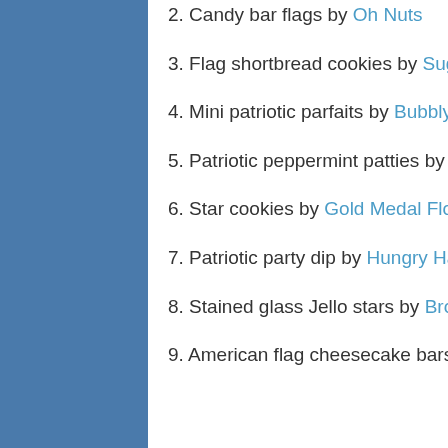2. Candy bar flags by Oh Nuts
3. Flag shortbread cookies by Sugary Winzy
4. Mini patriotic parfaits by Bubbly Nature Creations
5. Patriotic peppermint patties by Mom on Timeout
6. Star cookies by Gold Medal Flour
7. Patriotic party dip by Hungry Happenings30
8. Stained glass Jello stars by Brown Eyed Baker
9. American flag cheesecake bars by My Recipes